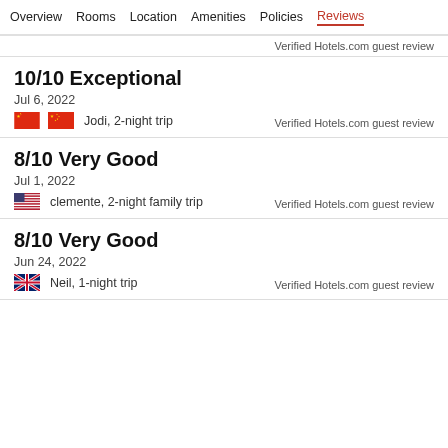Overview  Rooms  Location  Amenities  Policies  Reviews
Verified Hotels.com guest review
10/10 Exceptional
Jul 6, 2022
Jodi, 2-night trip
Verified Hotels.com guest review
8/10 Very Good
Jul 1, 2022
clemente, 2-night family trip
Verified Hotels.com guest review
8/10 Very Good
Jun 24, 2022
Neil, 1-night trip
Verified Hotels.com guest review